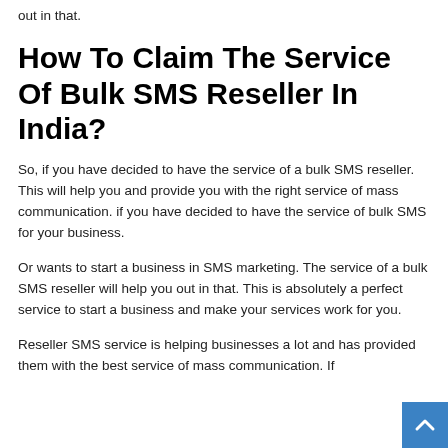out in that.
How To Claim The Service Of Bulk SMS Reseller In India?
So, if you have decided to have the service of a bulk SMS reseller. This will help you and provide you with the right service of mass communication. if you have decided to have the service of bulk SMS for your business.
Or wants to start a business in SMS marketing. The service of a bulk SMS reseller will help you out in that. This is absolutely a perfect service to start a business and make your services work for you.
Reseller SMS service is helping businesses a lot and has provided them with the best service of mass communication. If